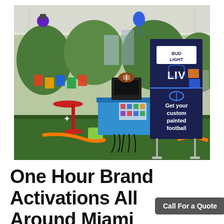[Figure (photo): Outdoor brand activation booth under a tent on artificial turf. A large navy blue Bud Light Super Bowl LIV banner reads 'Get your custom painted football'. A blue-draped table holds painting equipment. A red pedestal table is visible to the left. Orange hose and green chair visible on the ground.]
One Hour Brand Activations All Around Miami